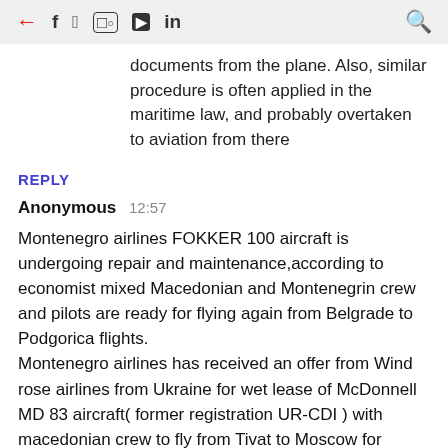← f 𝕏 📷 ▶ in 🔍
documents from the plane. Also, similar procedure is often applied in the maritime law, and probably overtaken to aviation from there
REPLY
Anonymous 12:57
Montenegro airlines FOKKER 100 aircraft is undergoing repair and maintenance,according to economist mixed Macedonian and Montenegrin crew and pilots are ready for flying again from Belgrade to Podgorica flights.
Montenegro airlines has received an offer from Wind rose airlines from Ukraine for wet lease of McDonnell MD 83 aircraft( former registration UR-CDI ) with macedonian crew to fly from Tivat to Moscow for summer season 2021(the offer included repaint of